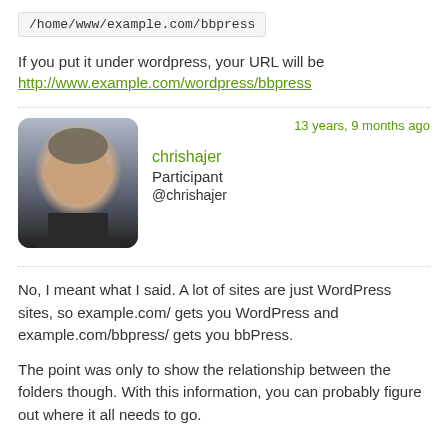/home/www/example.com/bbpress
If you put it under wordpress, your URL will be http://www.example.com/wordpress/bbpress
13 years, 9 months ago
[Figure (photo): Avatar photo of chrishajer, a middle-aged man in a dark shirt]
chrishajer Participant @chrishajer
No, I meant what I said. A lot of sites are just WordPress sites, so example.com/ gets you WordPress and example.com/bbpress/ gets you bbPress.

The point was only to show the relationship between the folders though. With this information, you can probably figure out where it all needs to go.
13 years, 8 months ago
[Figure (logo): Avatar icon for lyrics user: brown rounded square with cyan puzzle-piece letter A shape]
lyrics Member @lyrics